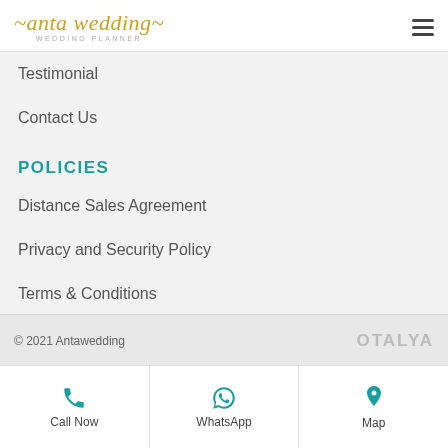[Figure (logo): Anta Wedding logo with script gold text and 'WEDDING PLANNER' subtitle]
Testimonial
Contact Us
POLICIES
Distance Sales Agreement
Privacy and Security Policy
Terms & Conditions
© 2021 Antawedding    OTALYA
Call Now
WhatsApp
Map